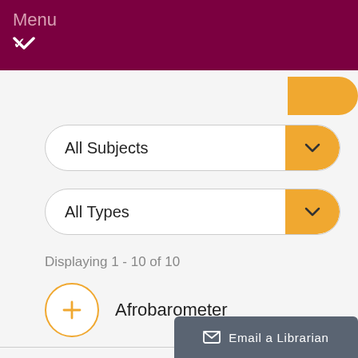Menu
All Subjects
All Types
Displaying 1 - 10 of 10
Afrobarometer
AidData: Open International
Email a Librarian